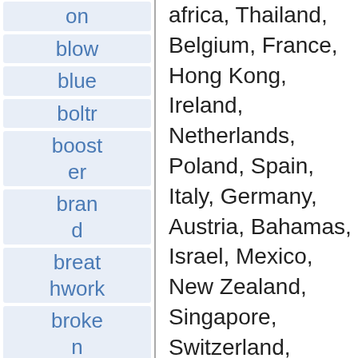on
blow
blue
boltr
booster
brand
breathwork
broken
c181086
carburetor
chemical
classic
cleaning
africa, Thailand, Belgium, France, Hong Kong, Ireland, Netherlands, Poland, Spain, Italy, Germany, Austria, Bahamas, Israel, Mexico, New Zealand, Singapore, Switzerland, Norway, Saudi arabia, Ukraine, United arab emirates, Qatar, Kuwait, Bahrain, Croatia, Malaysia, Chile, Colombia, Costa rica, Panama, Trinidad and tobago, Guatemala, Honduras, Jamaica, Barbados, Bangladesh, Bermuda, Brunei darussalam, Bolivia, Egypt, French guiana, Guernsey, Gibraltar, Guadeloupe, Iceland, Jersey, Jordan, Cambodia, Cayman islands, Liechtenstein, Sri lanka, Luxembourg, Monaco,